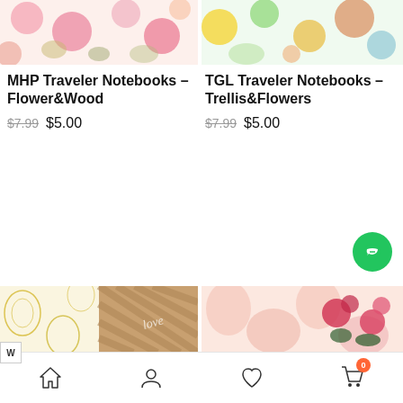[Figure (photo): Top cropped view of MHP Traveler Notebooks - Flower&Wood product image showing floral pink and beige pattern]
[Figure (photo): Top cropped view of TGL Traveler Notebooks - Trellis&Flowers product image showing colorful watercolor floral pattern]
MHP Traveler Notebooks - Flower&Wood
$7.99  $5.00
TGL Traveler Notebooks - Trellis&Flowers
$7.99  $5.00
[Figure (photo): Bottom product image showing yellow floral and wood herringbone pattern notebook labeled 'love']
[Figure (photo): Bottom product image showing pink floral pattern notebook]
[Figure (other): Green circular chat/message button icon]
[Figure (other): Bottom navigation bar with home, account, wishlist, and cart icons]